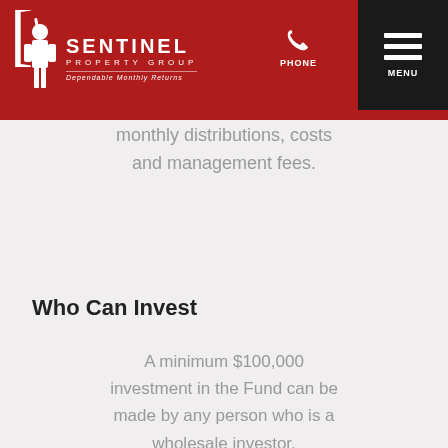Sentinel Property Group — Dependable Monthly Returns | PHONE | MENU
monthly distributions, costs and management fees.
Who Can Invest
A minimum $100,000 investment in the Fund can be made by any person who is a wholesale investor.